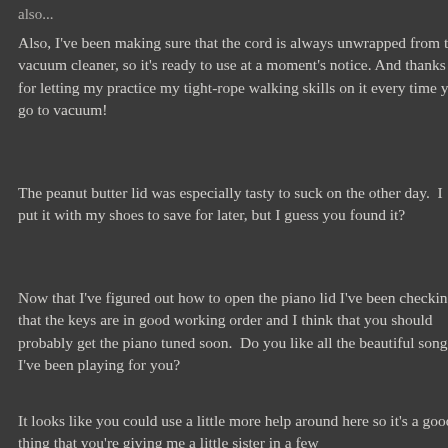Also, I've been making sure that the cord is always unwrapped from the vacuum cleaner, so it's ready to use at a moment's notice. And thanks for letting my practice my tight-rope walking skills on it every time you go to vacuum!
The peanut butter lid was especially tasty to suck on the other day.  I put it with my shoes to save for later, but I guess you found it?
Now that I've figured out how to open the piano lid I've been checking that the keys are in good working order and I think that you should probably get the piano tuned soon.  Do you like all the beautiful songs I've been playing for you?
It looks like you could use a little more help around here so it's a good thing that you're giving me a little sister in a few